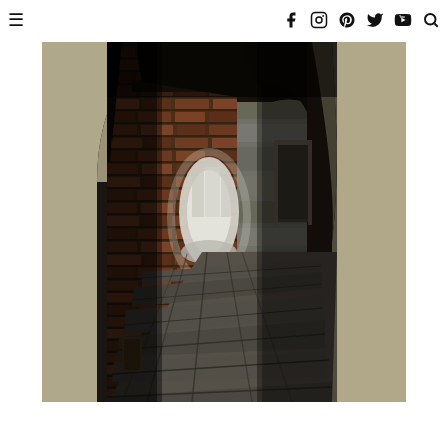Navigation bar with hamburger menu, Facebook, Instagram, Pinterest, Twitter, YouTube, Search icons
[Figure (photo): A narrow stone archway passage or snickelway viewed from inside, with brick walls on the left, stone walls on the right, a dark ceiling with beams, and a flagstone floor leading to a bright arched opening at the far end showing a street scene beyond.]